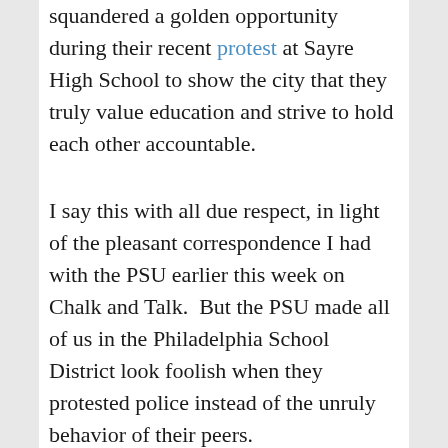squandered a golden opportunity during their recent protest at Sayre High School to show the city that they truly value education and strive to hold each other accountable.
I say this with all due respect, in light of the pleasant correspondence I had with the PSU earlier this week on Chalk and Talk.  But the PSU made all of us in the Philadelphia School District look foolish when they protested police instead of the unruly behavior of their peers.
The PSU missed the chance to highlight